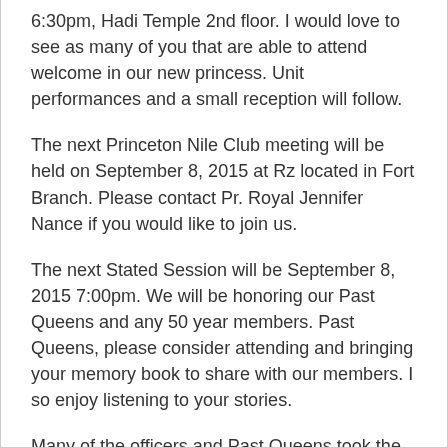6:30pm, Hadi Temple 2nd floor. I would love to see as many of you that are able to attend welcome in our new princess. Unit performances and a small reception will follow.
The next Princeton Nile Club meeting will be held on September 8, 2015 at Rz located in Fort Branch. Please contact Pr. Royal Jennifer Nance if you would like to join us.
The next Stated Session will be September 8, 2015 7:00pm. We will be honoring our Past Queens and any 50 year members. Past Queens, please consider attending and bringing your memory book to share with our members. I so enjoy listening to your stories.
Many of the officers and Past Queens took the opportunity while spending the week together to discuss some exciting ideas for the fall. Be watching for information on some upcoming events to include a family night, adult night and couples night, please be sure to share any of your suggestions for some fun social activities.